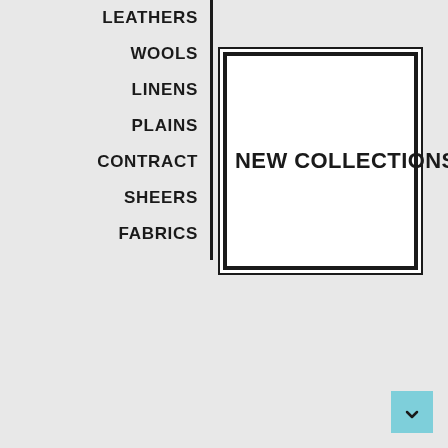LEATHERS
WOOLS
LINENS
PLAINS
CONTRACT
SHEERS
FABRICS
[Figure (other): White box with double border containing bold text NEW COLLECTIONS]
[Figure (other): Teal/cyan colored square button with arrow icon in bottom-right corner]